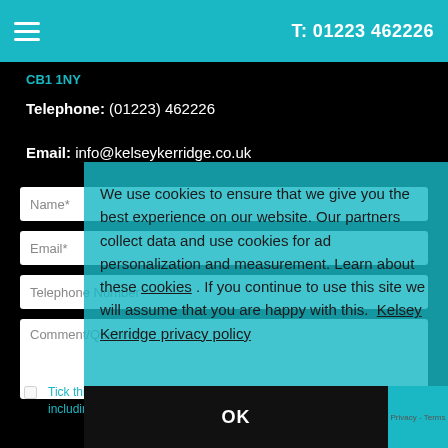T: 01223 462226
CB1 1NY
Telephone: (01223) 462226
Email: info@kelseykerridge.co.uk
Name*
Email*
Telephone Number
Comment/Question
We use cookies to ensure that we give you the best experience on our website. Our partners collect data and use cookies for ad personalization and measurement. Learn about these cookies . If you continue to use this site we will assume that you are happy with this.  Kelsey Kerridge privacy policy
OK
Tick this box if you wish to receive marketing material from us, including news and offers